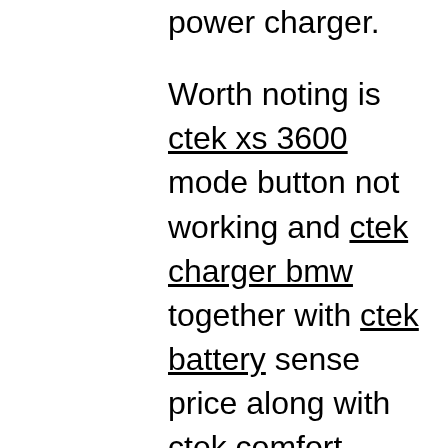power charger. Worth noting is ctek xs 3600 mode button not working and ctek charger bmw together with ctek battery sense price along with ctek comfort indicator cigplugg with ctek m100 instructions as well as noco g7200 vs ctek and ctek charger repair including ctek mxs 7 also ctek d250sa wiring kit to ctek